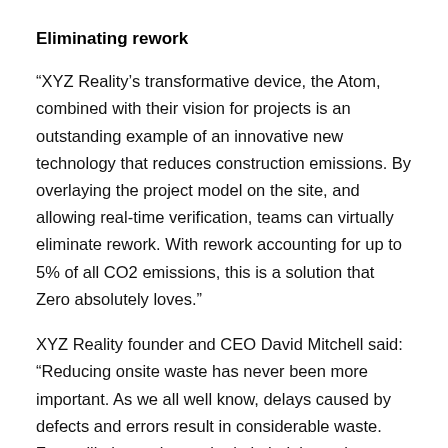Eliminating rework
“XYZ Reality’s transformative device, the Atom, combined with their vision for projects is an outstanding example of an innovative new technology that reduces construction emissions. By overlaying the project model on the site, and allowing real-time verification, teams can virtually eliminate rework. With rework accounting for up to 5% of all CO2 emissions, this is a solution that Zero absolutely loves.”
XYZ Reality founder and CEO David Mitchell said: “Reducing onsite waste has never been more important. As we all well know, delays caused by defects and errors result in considerable waste. Zero will play an integral role in helping to increase